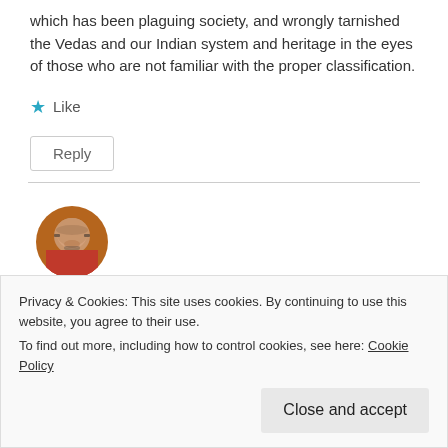which has been plaguing society, and wrongly tarnished the Vedas and our Indian system and heritage in the eyes of those who are not familiar with the proper classification.
★ Like
Reply
[Figure (photo): Circular avatar photo of a person wearing a red shirt, bald head, with warm lighting background]
Privacy & Cookies: This site uses cookies. By continuing to use this website, you agree to their use.
To find out more, including how to control cookies, see here: Cookie Policy
Close and accept
1. You cannot ignore the fact that Bharat, Hindustan, India is